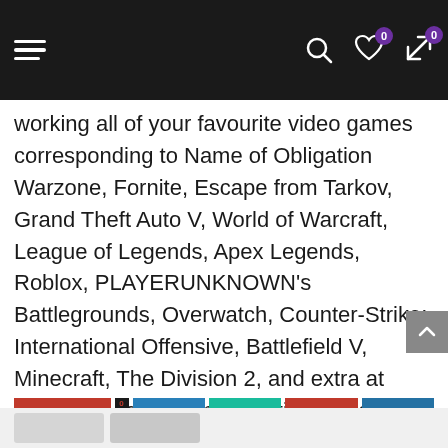Navigation bar with hamburger menu, search, wishlist (0), and cart (0) icons
working all of your favourite video games corresponding to Name of Obligation Warzone, Fornite, Escape from Tarkov, Grand Theft Auto V, World of Warcraft, League of Legends, Apex Legends, Roblox, PLAYERUNKNOWN’s Battlegrounds, Overwatch, Counter-Strike: International Offensive, Battlefield V, Minecraft, The Division 2, and extra at Excessive to Extremely settings, crisp 1080p FHD decision and clean 60+ FPS sport play.
[Figure (screenshot): Bottom navigation tabs and social media thumbnail row]